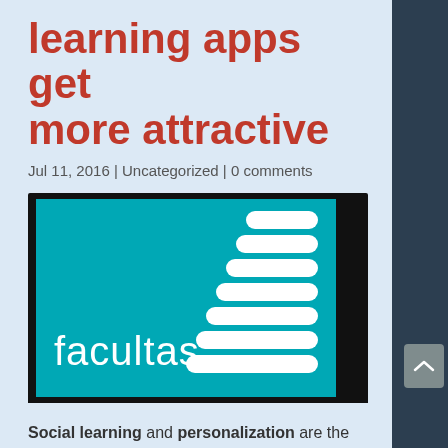learning apps get more attractive
Jul 11, 2016 | Uncategorized | 0 comments
[Figure (logo): Facultas logo on teal background with white rounded rectangular bars arranged vertically on the right side, resembling a staircase or loading bar pattern. The word 'facultas' is displayed in white lowercase text on the left side.]
Social learning and personalization are the two hottest trends in the field of e-learning and microlearning. Research Studios Austria and the